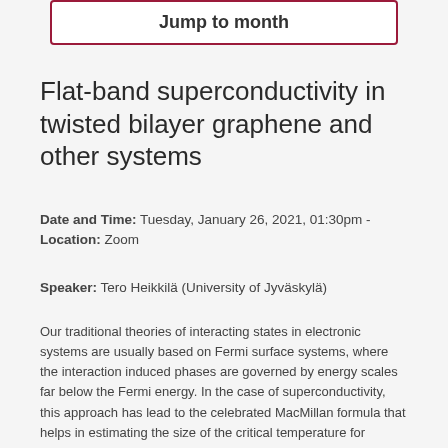Jump to month
Flat-band superconductivity in twisted bilayer graphene and other systems
Date and Time: Tuesday, January 26, 2021, 01:30pm -
Location: Zoom
Speaker: Tero Heikkilä (University of Jyväskylä)
Our traditional theories of interacting states in electronic systems are usually based on Fermi surface systems, where the interaction induced phases are governed by energy scales far below the Fermi energy. In the case of superconductivity, this approach has lead to the celebrated MacMillan formula that helps in estimating the size of the critical temperature for superconductivity. It also shows how superconductivity usually comes with an exponentially suppressed critical temperature compared to the